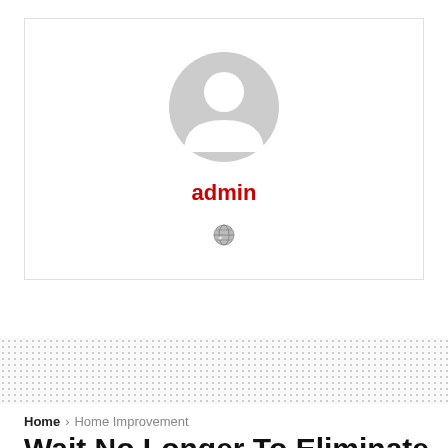[Figure (illustration): Author profile card with a generic gray user avatar icon, a red bold 'admin' label, and a small gray globe/world icon below, inside a bordered white box.]
Home > Home Improvement
Wait No Longer To Eliminate